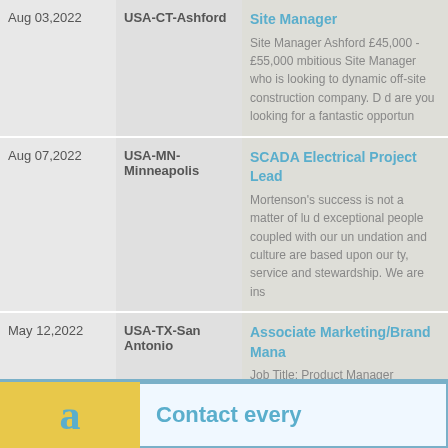| Date | Location | Job |
| --- | --- | --- |
| Aug 03,2022 | USA-CT-Ashford | Site Manager
Site Manager Ashford £45,000 - £55,000 mbitious Site Manager who is looking to dynamic off-site construction company. D d are you looking for a fantastic opportun |
| Aug 07,2022 | USA-MN-Minneapolis | SCADA Electrical Project Lead
Mortenson's success is not a matter of lu d exceptional people coupled with our un undation and culture are based upon our ty, service and stewardship. We are ins |
| May 12,2022 | USA-TX-San Antonio | Associate Marketing/Brand Mana
Job Title: Product Manager  Summary: s-functional project management skills, o ses for new product commercialization in ally, you will provide pricing support. |
[Figure (infographic): Bottom banner with yellow left section containing a blue 'a' letter icon, and right section with light blue background showing 'Contact every' text in teal/blue color.]